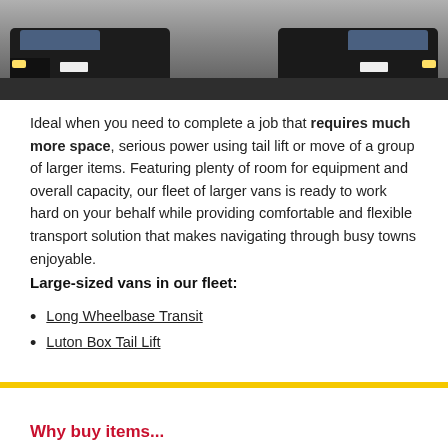[Figure (photo): Photo of large vans parked on a road, dark tones, vehicles visible from front]
Ideal when you need to complete a job that requires much more space, serious power using tail lift or move of a group of larger items. Featuring plenty of room for equipment and overall capacity, our fleet of larger vans is ready to work hard on your behalf while providing comfortable and flexible transport solution that makes navigating through busy towns enjoyable.
Large-sized vans in our fleet:
Long Wheelbase Transit
Luton Box Tail Lift
Why buy items...